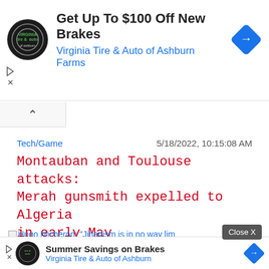[Figure (screenshot): Advertisement banner for Virginia Tire & Auto of Ashburn Farms featuring circular logo and blue arrow sign. Headline: Get Up To $100 Off New Brakes. Subline: Virginia Tire & Auto of Ashburn Farms]
Tech/Game
5/18/2022, 10:15:08 AM
Montauban and Toulouse attacks: Merah gunsmith expelled to Algeria in early May
Hugo Micheron: "Jihadism is in no way lim attacks
[Figure (screenshot): Advertisement banner for Virginia Tire & Auto of Ashburn featuring Summer Savings on Brakes with close X button overlay]